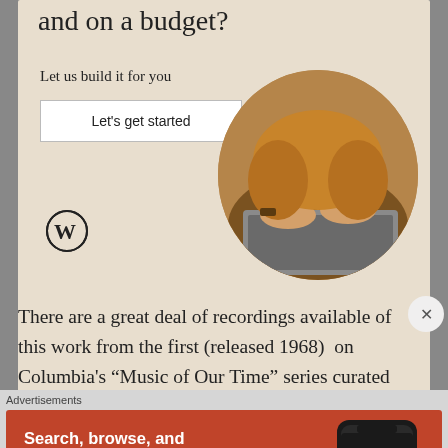[Figure (illustration): WordPress advertisement with text 'and on a budget? Let us build it for you', a button 'Let's get started', WordPress logo, and a circular photo of hands typing on a laptop.]
There are a great deal of recordings available of this work from the first (released 1968)  on Columbia's “Music of Our Time” series curated by the insightful David Behrman to versions
Advertisements
[Figure (illustration): DuckDuckGo advertisement: 'Search, browse, and email with more privacy. All in One Free App' with DuckDuckGo logo and phone graphic on orange-red background.]